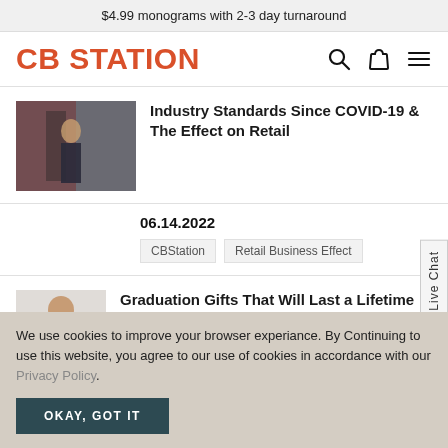$4.99 monograms with 2-3 day turnaround
CB STATION
Industry Standards Since COVID-19 & The Effect on Retail
06.14.2022
CBStation
Retail Business Effect
Graduation Gifts That Will Last a Lifetime
We use cookies to improve your browser experiance. By Continuing to use this website, you agree to our use of cookies in accordance with our Privacy Policy.
OKAY, GOT IT